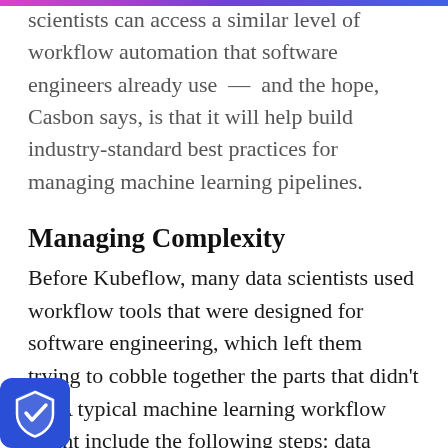scientists can access a similar level of workflow automation that software engineers already use — and the hope, Casbon says, is that it will help build industry-standard best practices for managing machine learning pipelines.
Managing Complexity
Before Kubeflow, many data scientists used workflow tools that were designed for software engineering, which left them trying to cobble together the parts that didn't fit. A typical machine learning workflow might include the following steps: data ingestion, data analysis, data transformation, data validation, model building, model training, model validation, training at scale, serving the